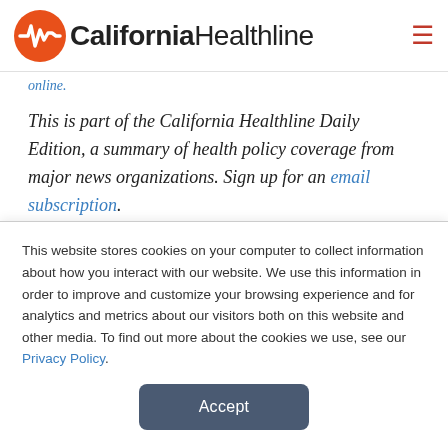California Healthline
online.
This is part of the California Healthline Daily Edition, a summary of health policy coverage from major news organizations. Sign up for an email subscription.
RECENT DAILY EDITIONS
Friday, August 26
This website stores cookies on your computer to collect information about how you interact with our website. We use this information in order to improve and customize your browsing experience and for analytics and metrics about our visitors both on this website and other media. To find out more about the cookies we use, see our Privacy Policy.
Accept